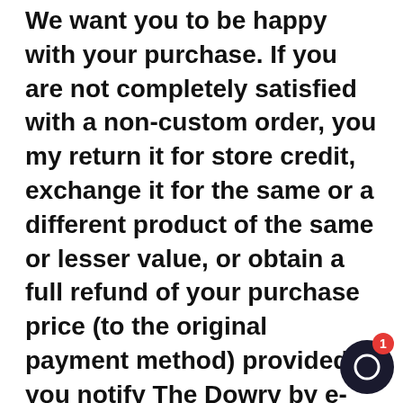We want you to be happy with your purchase. If you are not completely satisfied with a non-custom order, you my return it for store credit, exchange it for the same or a different product of the same or lesser value, or obtain a full refund of your purchase price (to the original payment method) provided you notify The Dowry by e-mail within 15 days of receiving the item. You must include your order number in your e-mail.
If your order is received in damaged condition, we will repair or replace our sole discretion provided that you contact The Dowry by e-mail within 48